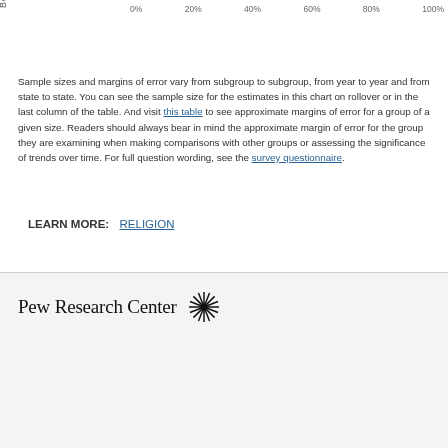[Figure (other): Partial view of a horizontal bar chart showing belief percentages, with rotated y-axis label 'Belief' and x-axis labels 0%, 20%, 40%, 60%, 80%, 100%]
Sample sizes and margins of error vary from subgroup to subgroup, from year to year and from state to state. You can see the sample size for the estimates in this chart on rollover or in the last column of the table. And visit this table to see approximate margins of error for a group of a given size. Readers should always bear in mind the approximate margin of error for the group they are examining when making comparisons with other groups or assessing the significance of trends over time. For full question wording, see the survey questionnaire.
LEARN MORE: RELIGION
Pew Research Center
1615 L St. NW, Suite 800
Washington, DC 20036
USA
(+1) 202-419-4300 | Main
(+1) 202-857-8562 | Fax
(+1) 202-419-4372 | Media Inquiries